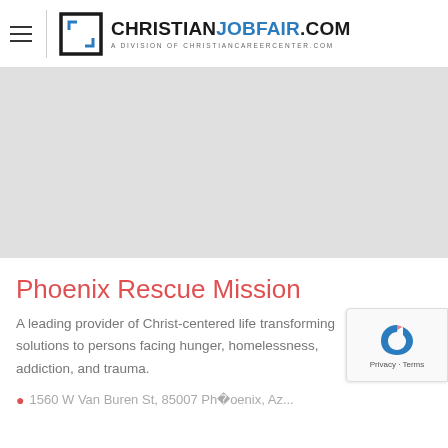CHRISTIANJOBFAIR.COM — A DIVISION OF CHRISTIANCAREERCENTER.COM
[Figure (other): Gray rectangular banner area, serving as an image placeholder or advertisement space]
Phoenix Rescue Mission
A leading provider of Christ-centered life transforming solutions to persons facing hunger, homelessness, addiction, and trauma.
1560 W Van Buren St, 85007 Phoenix, Az...